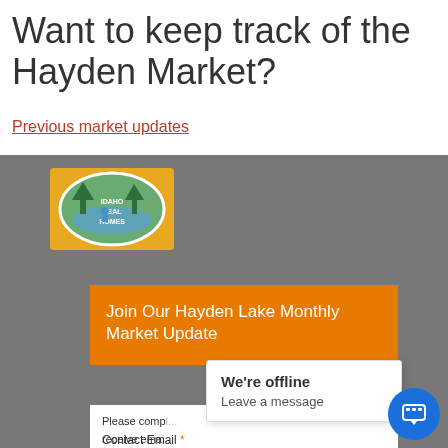Want to keep track of the Hayden Market?
Previous market updates
[Figure (logo): Idaho Real Homes logo with oval scenic lake/forest image and text 'IDAHO REAL HOMES']
Join Our Hayden Lake Monthly Market Update
Please comp... receive ema...
Contact Email *
We're offline
Leave a message